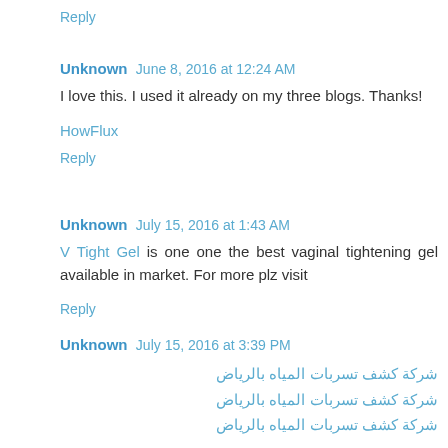Reply
Unknown  June 8, 2016 at 12:24 AM
I love this. I used it already on my three blogs. Thanks!
HowFlux
Reply
Unknown  July 15, 2016 at 1:43 AM
V Tight Gel is one one the best vaginal tightening gel available in market. For more plz visit
Reply
Unknown  July 15, 2016 at 3:39 PM
شركة كشف تسربات المياه بالرياض
شركة كشف تسربات المياه بالرياض
شركة كشف تسربات المياه بالرياض